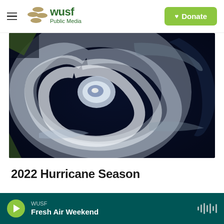WUSF Public Media — Donate
[Figure (photo): Satellite aerial view of a hurricane with a visible eye, swirling cloud bands over dark ocean water.]
2022 Hurricane Season
WUSF Fresh Air Weekend